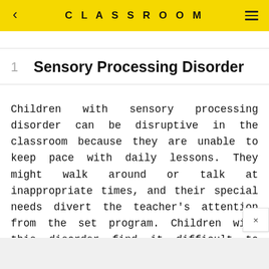CLASSROOM
1  Sensory Processing Disorder
Children with sensory processing disorder can be disruptive in the classroom because they are unable to keep pace with daily lessons. They might walk around or talk at inappropriate times, and their special needs divert the teacher's attention from the set program. Children with this disorder find it difficult to organize and make sense of the